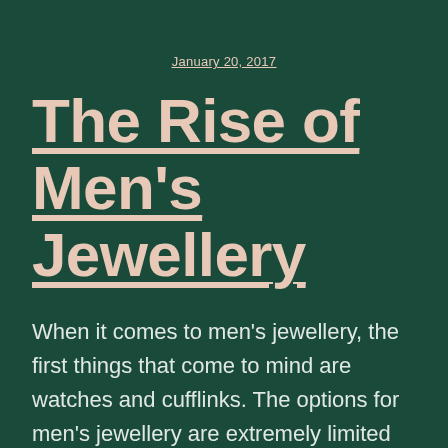January 20, 2017
The Rise of Men's Jewellery
When it comes to men's jewellery, the first things that come to mind are watches and cufflinks. The options for men's jewellery are extremely limited and in fact most men are averse to wearing jewellery, simply because